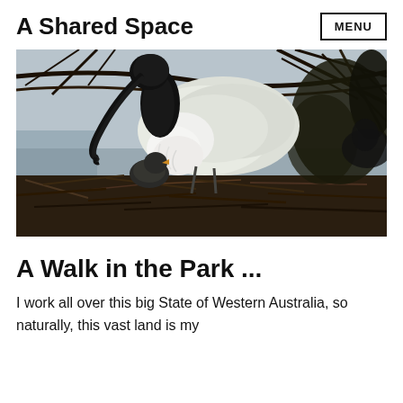A Shared Space
[Figure (photo): An ibis bird with a long black curved beak feeding a chick in a nest made of twigs and branches. The adult bird is white with a black head and neck. The nest is densely woven with dark sticks.]
A Walk in the Park ...
I work all over this big State of Western Australia, so naturally, this vast land is my